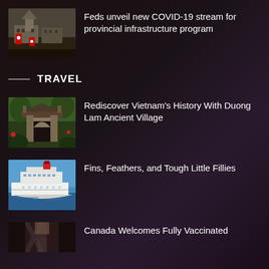[Figure (photo): Canadian Parliament building with Canadian flags]
Feds unveil new COVID-19 stream for provincial infrastructure program
TRAVEL
[Figure (photo): Vietnamese ancient temple gateway with stone statues and green trees]
Rediscover Vietnam’s History With Duong Lam Ancient Village
[Figure (photo): Cruise ship on blue water under sunny sky]
Fins, Feathers, and Tough Little Fillies
[Figure (photo): Partial view of a building interior]
Canada Welcomes Fully Vaccinated